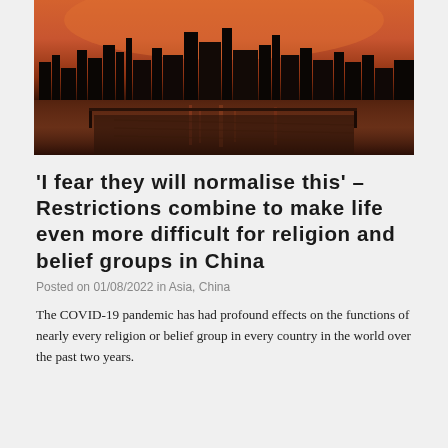[Figure (photo): City skyline silhouette at sunset/dusk with orange-red sky reflected on wet ground or water in foreground, appears to be a Chinese city.]
'I fear they will normalise this' – Restrictions combine to make life even more difficult for religion and belief groups in China
Posted on 01/08/2022 in Asia, China
The COVID-19 pandemic has had profound effects on the functions of nearly every religion or belief group in every country in the world over the past two years.